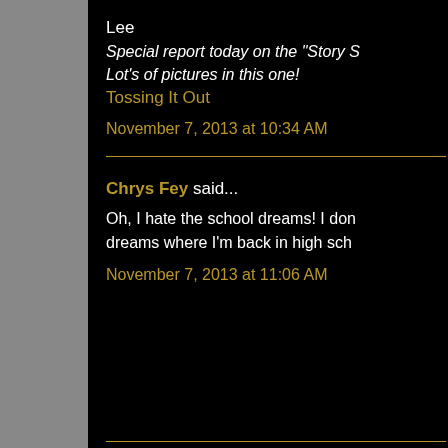Lee
Special report today on the "Story S... Lot's of pictures in this one!
Tossing It Out
November 7, 2013 at 10:34 AM
Chrys Fey said...
Oh, I hate the school dreams! I don... dreams where I'm back in high sch...
November 7, 2013 at 11:06 AM